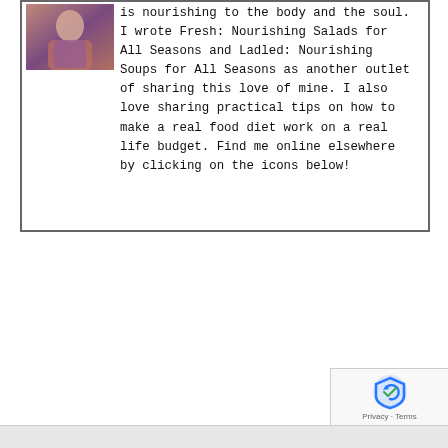[Figure (photo): Small photo of a person in colorful clothing, cropped at top-left of the bordered box]
is nourishing to the body and the soul. I wrote Fresh: Nourishing Salads for All Seasons and Ladled: Nourishing Soups for All Seasons as another outlet of sharing this love of mine. I also love sharing practical tips on how to make a real food diet work on a real life budget. Find me online elsewhere by clicking on the icons below!
[Figure (logo): reCAPTCHA badge with blue shield/checkmark logo and 'Privacy · Terms' text]